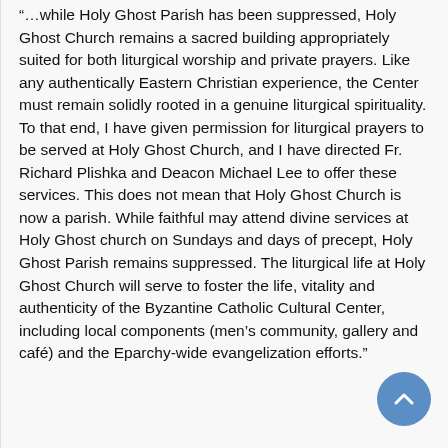“…while Holy Ghost Parish has been suppressed, Holy Ghost Church remains a sacred building appropriately suited for both liturgical worship and private prayers. Like any authentically Eastern Christian experience, the Center must remain solidly rooted in a genuine liturgical spirituality. To that end, I have given permission for liturgical prayers to be served at Holy Ghost Church, and I have directed Fr. Richard Plishka and Deacon Michael Lee to offer these services. This does not mean that Holy Ghost Church is now a parish. While faithful may attend divine services at Holy Ghost church on Sundays and days of precept, Holy Ghost Parish remains suppressed. The liturgical life at Holy Ghost Church will serve to foster the life, vitality and authenticity of the Byzantine Catholic Cultural Center, including local components (men’s community, gallery and café) and the Eparchy-wide evangelization efforts.”
The local components and the Eparchy-wide evangelization efforts of the Center continue to be guided by our mission statement which the Bishop together with a group of clergy drafted in 2008, as we prepared for the Eparchy of Parma 40th Anniversary